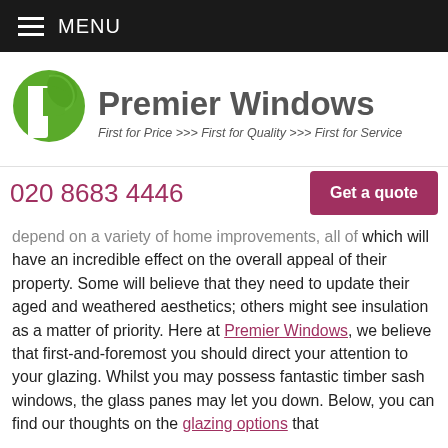MENU
[Figure (logo): Premier Windows logo with green leaf/P icon and text 'Premier Windows', subtitle 'First for Price >>> First for Quality >>> First for Service']
020 8683 4446
Get a quote
depend on a variety of home improvements, all of which will have an incredible effect on the overall appeal of their property. Some will believe that they need to update their aged and weathered aesthetics; others might see insulation as a matter of priority. Here at Premier Windows, we believe that first-and-foremost you should direct your attention to your glazing. Whilst you may possess fantastic timber sash windows, the glass panes may let you down. Below, you can find our thoughts on the glazing options that